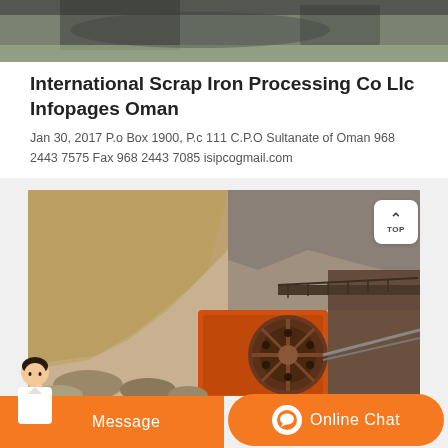[Figure (photo): Top portion of an industrial scrap/mining scene, partially visible at the top of the page]
International Scrap Iron Processing Co Llc Infopages Oman
Jan 30, 2017 P.o Box 1900, P.c 111 C.P.O Sultanate of Oman 968 2443 7575 Fax 968 2443 7085 isipcogmail.com
[Figure (photo): Mining/quarry site with heavy industrial machinery including a large orange jaw crusher with a flywheel, rocky cliffs in the background]
Message
Online Chat